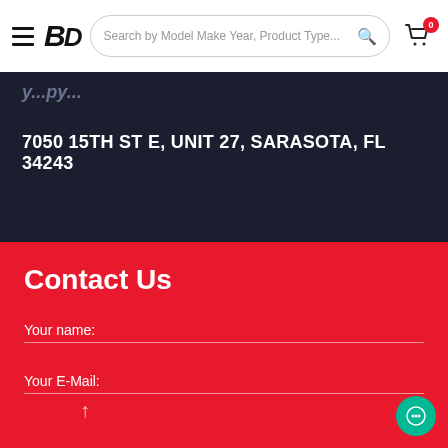Search by Model Make Year, Product Type...
7050 15TH ST E, UNIT 27, SARASOTA, FL 34243
Contact Us
Your name:
Your E-Mail: